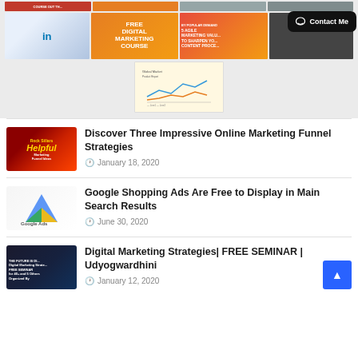[Figure (screenshot): Top collage of digital marketing course thumbnails including LinkedIn, Free Digital Marketing Course, 5 Agile Marketing Values, and a chart image. A black 'Contact Me' button is overlaid in the top right.]
Discover Three Impressive Online Marketing Funnel Strategies
January 18, 2020
Google Shopping Ads Are Free to Display in Main Search Results
June 30, 2020
Digital Marketing Strategies | FREE SEMINAR | Udyogwardhini
January 12, 2020